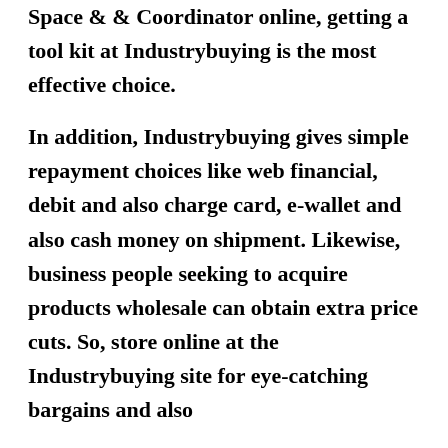Space & & Coordinator online, getting a tool kit at Industrybuying is the most effective choice.
In addition, Industrybuying gives simple repayment choices like web financial, debit and also charge card, e-wallet and also cash money on shipment. Likewise, business people seeking to acquire products wholesale can obtain extra price cuts. So, store online at the Industrybuying site for eye-catching bargains and also